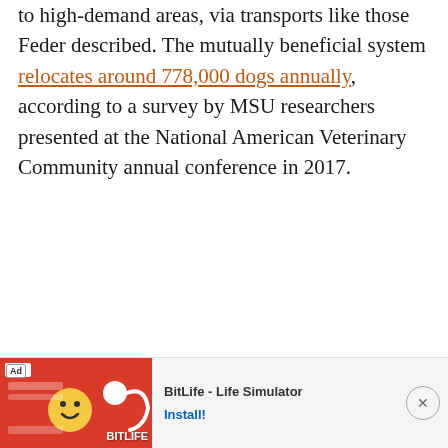to high-demand areas, via transports like those Feder described. The mutually beneficial system relocates around 778,000 dogs annually, according to a survey by MSU researchers presented at the National American Veterinary Community annual conference in 2017.
[Figure (other): Advertisement banner for BitLife - Life Simulator mobile app with red/yellow background showing game imagery, Ad label, app name, and Install button]